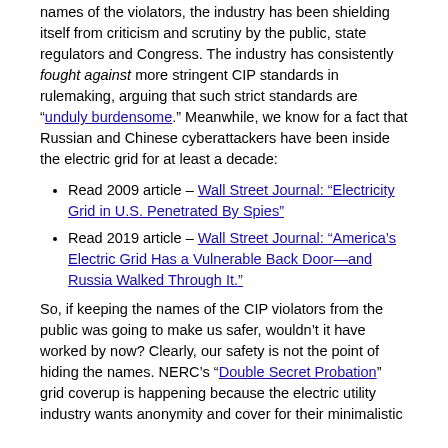names of the violators, the industry has been shielding itself from criticism and scrutiny by the public, state regulators and Congress. The industry has consistently fought against more stringent CIP standards in rulemaking, arguing that such strict standards are "unduly burdensome." Meanwhile, we know for a fact that Russian and Chinese cyberattackers have been inside the electric grid for at least a decade:
Read 2009 article – Wall Street Journal: "Electricity Grid in U.S. Penetrated By Spies"
Read 2019 article – Wall Street Journal: "America's Electric Grid Has a Vulnerable Back Door—and Russia Walked Through It."
So, if keeping the names of the CIP violators from the public was going to make us safer, wouldn't it have worked by now? Clearly, our safety is not the point of hiding the names. NERC's "Double Secret Probation" grid coverup is happening because the electric utility industry wants anonymity and cover for their minimalistic